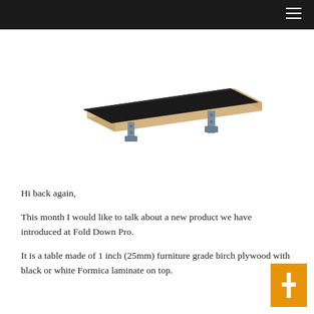[Figure (photo): A fold-down wall-mounted table with a black Formica laminate top, birch plywood edges visible, supported by two metal folding brackets.]
Hi back again,

This month I would like to talk about a new product we have introduced at Fold Down Pro.

It is a table made of 1 inch (25mm) furniture grade birch plywood with black or white Formica laminate on top.